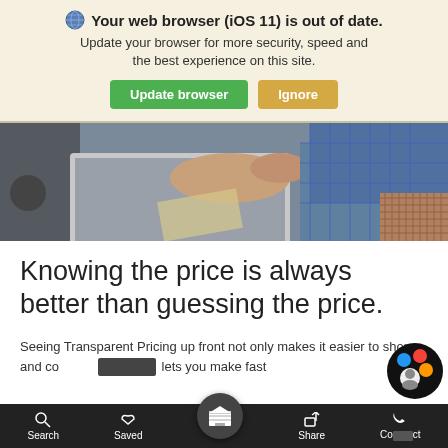Your web browser (iOS 11) is out of date. Update your browser for more security, speed and the best experience on this site. [Update browser] [Ignore]
[Figure (photo): Photo of a person using a laptop computer, wearing a plaid shirt, viewed from above at an angle. The laptop and hands are visible on what appears to be an outdoor table.]
Knowing the price is always better than guessing the price.
Seeing Transparent Pricing up front not only makes it easier to shop and compare, it lets you make fast
Search   Saved   [home]   Share   Contact